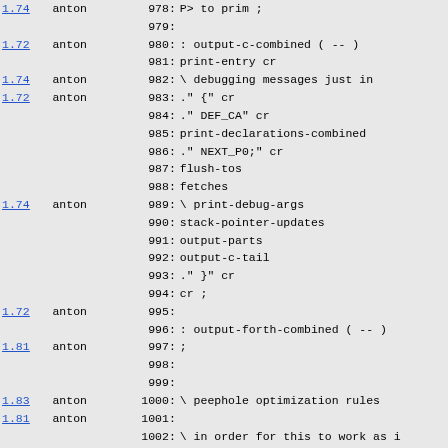Source code listing with version annotations, authors, line numbers, and Forth/C code. Lines 978-1007.